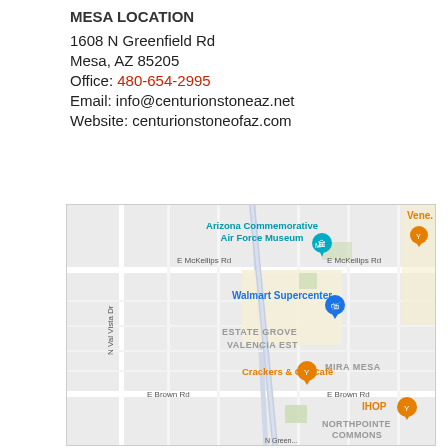MESA LOCATION
1608 N Greenfield Rd
Mesa, AZ 85205
Office: 480-654-2995
Email: info@centurionstoneaz.net
Website: centurionstoneofaz.com
[Figure (map): Google Maps view showing the area around 1608 N Greenfield Rd, Mesa AZ 85205. Visible landmarks include Arizona Commemorative Air Force Museum, Walmart Supercenter, Crackers & Co. Café, IHOP, streets E McKellips Rd, E Brown Rd, N Val Vista Dr, N Greenfield Rd, and neighborhoods Estate Grove Valencia Est, Mira Mesa, Northpointe Commons.]